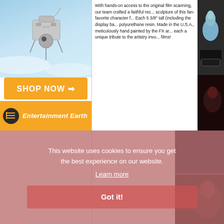[Figure (photo): Entertainment Earth advertisement banner showing a Star Wars spaceship (Imperial probe droid or similar) against a blue sky background, with orange SHOP NOW button and Entertainment Earth logo]
With hands-on access to the original film scanning, our team crafted a faithful recreation sculpture of this fan-favorite character f... Each 5 3/8" tall (including the display ba... polyurethane resin. Made in the U.S.A., meticulously hand painted by the FX ar... each a unique tribute to the artistry invo... films!
[Figure (photo): Dark product/figurine images on right side showing what appears to be a blue/gray fantasy or sci-fi figurine on a black base, and below that a darker scene]
This website uses cookies to ensure you get the best experience on our website.
Learn more
Got it!